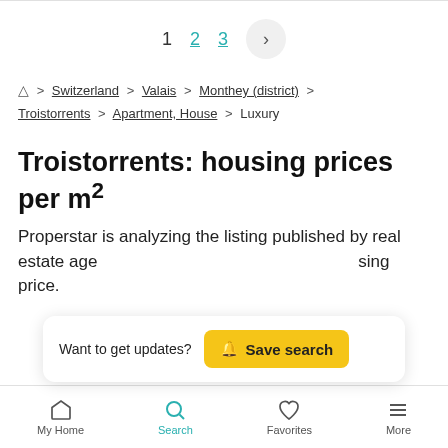1  2  3  >
Home > Switzerland > Valais > Monthey (district) > Troistorrents > Apartment, House > Luxury
Troistorrents: housing prices per m²
Properstar is analyzing the listing published by real estate age... sing price.
Want to get updates?  Save search
My Home  Search  Favorites  More